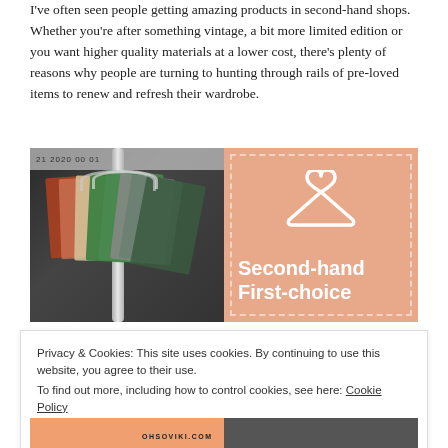I've often seen people getting amazing products in second-hand shops. Whether you're after something vintage, a bit more limited edition or you want higher quality materials at a lower cost, there's plenty of reasons why people are turning to hunting through rails of pre-loved items to renew and refresh their wardrobe.
[Figure (photo): Left: photo of clothing rack with multiple garments on wooden and metal hangers. Right: peach/salmon colored graphic with dashed border, white coat hanger icon, and bold white text reading 'Second-hand First-choice'.]
Privacy & Cookies: This site uses cookies. By continuing to use this website, you agree to their use.
To find out more, including how to control cookies, see here: Cookie Policy
[Figure (photo): Bottom strip showing partial images: left side shows an orange/peach background with OHSOVIKI.COM text, right side shows a dark background with partial figure.]